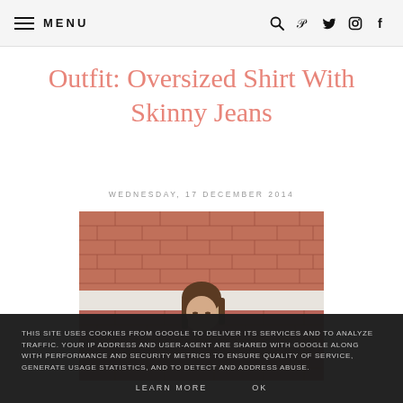MENU
Outfit: Oversized Shirt With Skinny Jeans
WEDNESDAY, 17 DECEMBER 2014
[Figure (photo): Young woman with long brown hair standing in front of a red brick wall, looking down]
THIS SITE USES COOKIES FROM GOOGLE TO DELIVER ITS SERVICES AND TO ANALYZE TRAFFIC. YOUR IP ADDRESS AND USER-AGENT ARE SHARED WITH GOOGLE ALONG WITH PERFORMANCE AND SECURITY METRICS TO ENSURE QUALITY OF SERVICE, GENERATE USAGE STATISTICS, AND TO DETECT AND ADDRESS ABUSE.
LEARN MORE   OK